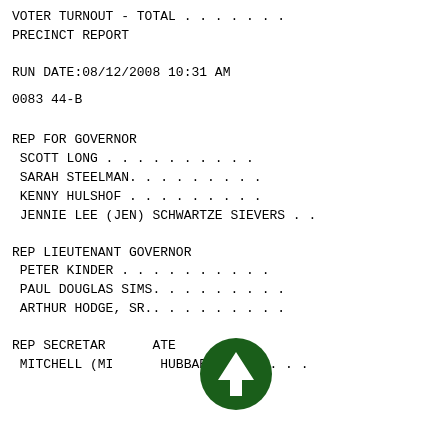VOTER TURNOUT - TOTAL . . . . . . .
PRECINCT REPORT
RUN DATE:08/12/2008 10:31 AM
0083 44-B
REP FOR GOVERNOR
SCOTT LONG . . . . . . . . . .
SARAH STEELMAN. . . . . . . . .
KENNY HULSHOF . . . . . . . . .
JENNIE LEE (JEN) SCHWARTZE SIEVERS . .
REP LIEUTENANT GOVERNOR
PETER KINDER . . . . . . . . .
PAUL DOUGLAS SIMS. . . . . . . .
ARTHUR HODGE, SR.. . . . . . . .
REP SECRETARY OF STATE
MITCHELL (MI  HUBBARD . . . . . .